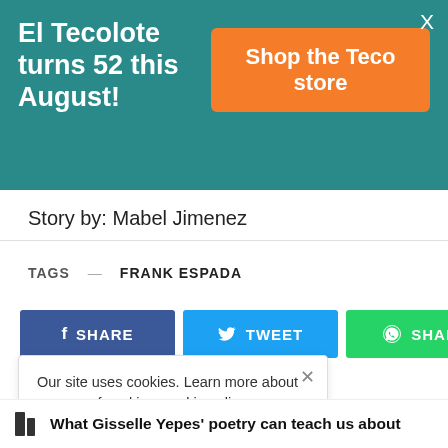[Figure (infographic): El Tecolote turns 52 this August! banner with teal background, white bold text, and orange 'Shop the Teco store' button. X close button top right.]
Story by: Mabel Jimenez
TAGS — FRANK ESPADA
[Figure (infographic): Social share buttons: blue Facebook SHARE, blue Twitter TWEET, green WhatsApp SHARE]
Our site uses cookies. Learn more about our use of cookies: cookie policy
I ACCEPT USE OF COOKIES
What Gisselle Yepes' poetry can teach us about